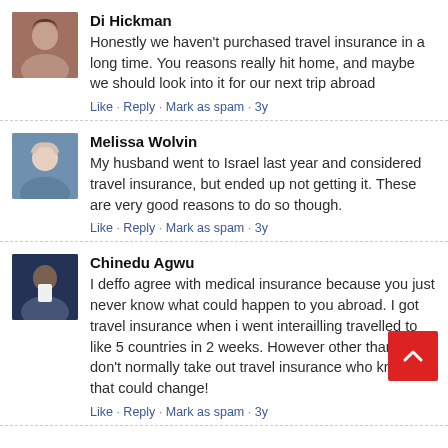Di Hickman
Honestly we haven't purchased travel insurance in a long time. You reasons really hit home, and maybe we should look into it for our next trip abroad
Like · Reply · Mark as spam · 3y
Melissa Wolvin
My husband went to Israel last year and considered travel insurance, but ended up not getting it. These are very good reasons to do so though.
Like · Reply · Mark as spam · 3y
Chinedu Agwu
I deffo agree with medical insurance because you just never know what could happen to you abroad. I got travel insurance when i went interailling travelled to like 5 countries in 2 weeks. However other than that, i don't normally take out travel insurance who knows - that could change!
Like · Reply · Mark as spam · 3y